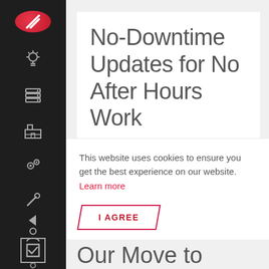[Figure (logo): Red circular logo with white diagonal lines, top-left of dark sidebar]
No-Downtime Updates for No After Hours Work
This website uses cookies to ensure you get the best experience on our website. Learn more
I AGREE
Our Move to